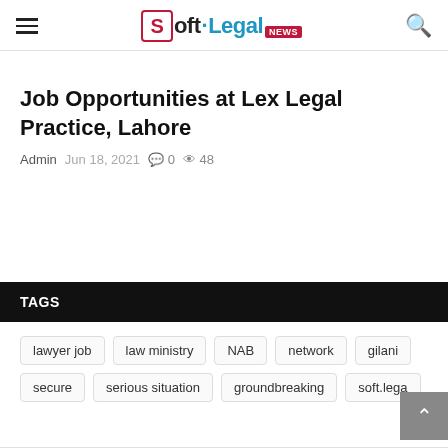Soft.Legal NEWS
Job Opportunities at Lex Legal Practice, Lahore
Admin  Jun 18, 2021  0  48
TAGS
lawyer job
law ministry
NAB
network
gilani
secure
serious situation
groundbreaking
soft.legal